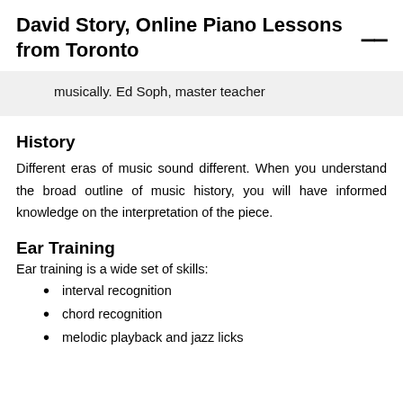David Story, Online Piano Lessons from Toronto
musically. Ed Soph, master teacher
History
Different eras of music sound different. When you understand the broad outline of music history, you will have informed knowledge on the interpretation of the piece.
Ear Training
Ear training is a wide set of skills:
interval recognition
chord recognition
melodic playback and jazz licks